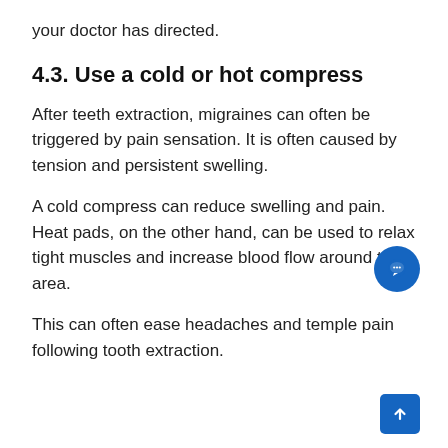your doctor has directed.
4.3. Use a cold or hot compress
After teeth extraction, migraines can often be triggered by pain sensation. It is often caused by tension and persistent swelling.
A cold compress can reduce swelling and pain. Heat pads, on the other hand, can be used to relax tight muscles and increase blood flow around the area.
This can often ease headaches and temple pain following tooth extraction.